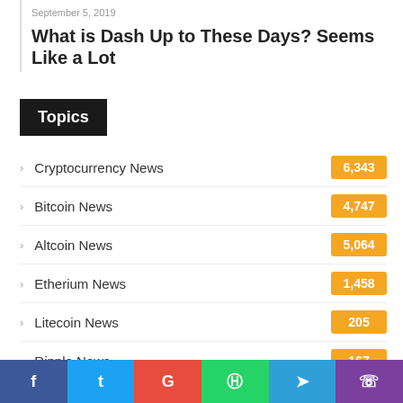September 5, 2019
What is Dash Up to These Days? Seems Like a Lot
Topics
Cryptocurrency News
Bitcoin News
Altcoin News
Etherium News
Litecoin News
Ripple News
Bitcoin Cash News
EOS News
Stellar News
f  t  G  (whatsapp)  (telegram)  (phone)